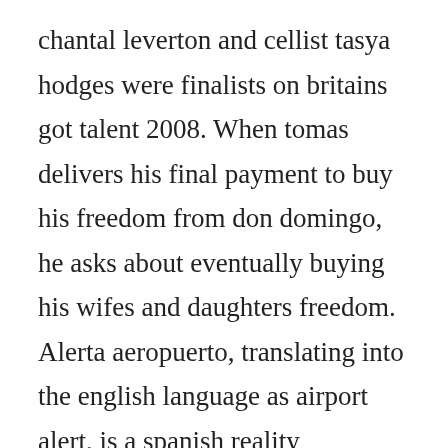chantal leverton and cellist tasya hodges were finalists on britains got talent 2008. When tomas delivers his final payment to buy his freedom from don domingo, he asks about eventually buying his wifes and daughters freedom. Alerta aeropuerto, translating into the english language as airport alert, is a spanish reality television series from 2014. Ardelia was going through her latest break up and with clarice in tow had decided to go man hunting. In colombia in 1821, a white orphan is taken in by black slaves. Jessica howell x